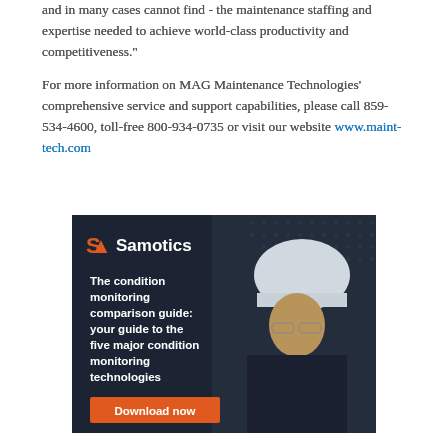and in many cases cannot find - the maintenance staffing and expertise needed to achieve world-class productivity and competitiveness."
For more information on MAG Maintenance Technologies' comprehensive service and support capabilities, please call 859-534-4600, toll-free 800-934-0735 or visit our website www.maint-tech.com
[Figure (illustration): Samotics advertisement showing a worker in a hard hat and safety glasses with text: 'The condition monitoring comparison guide: your guide to the five major condition monitoring technologies' and a Download now button]